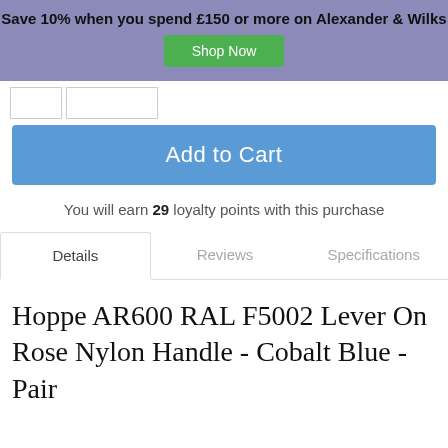Save 10% when you spend £150 or more on Alexander & Wilks
Shop Now
Add to Cart
You will earn 29 loyalty points with this purchase
Details
Reviews
Specifications
Hoppe AR600 RAL F5002 Lever On Rose Nylon Handle - Cobalt Blue - Pair